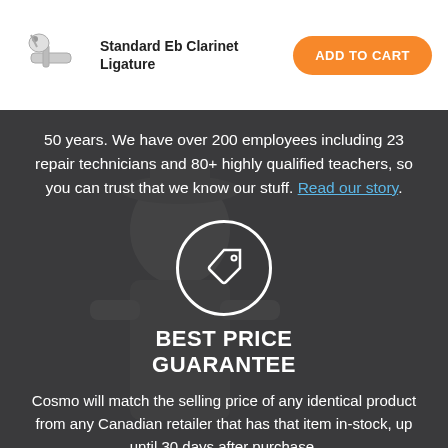[Figure (photo): Product image: Standard Eb Clarinet Ligature with small instrument graphic]
Standard Eb Clarinet Ligature
ADD TO CART
50 years. We have over 200 employees including 23 repair technicians and 80+ highly qualified teachers, so you can trust that we know our stuff. Read our story.
[Figure (illustration): White tag/price-tag icon inside a white circle on dark background]
BEST PRICE GUARANTEE
Cosmo will match the selling price of any identical product from any Canadian retailer that has that item in-stock, up until 30 days after purchase.
See further details.
[Figure (illustration): White circular arrow/return icon inside a white circle on dark background (partially visible at bottom)]